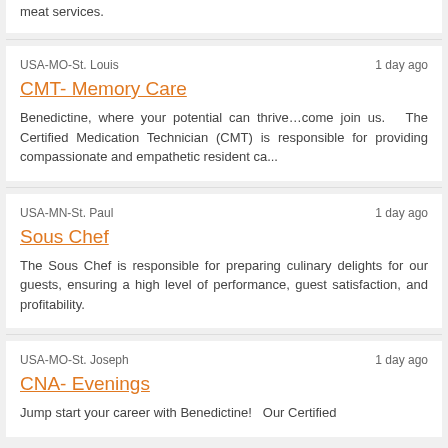meat services.
USA-MO-St. Louis    1 day ago
CMT- Memory Care
Benedictine, where your potential can thrive…come join us.    The Certified Medication Technician (CMT) is responsible for providing compassionate and empathetic resident ca...
USA-MN-St. Paul    1 day ago
Sous Chef
The Sous Chef is responsible for preparing culinary delights for our guests, ensuring a high level of performance, guest satisfaction, and profitability.
USA-MO-St. Joseph    1 day ago
CNA- Evenings
Jump start your career with Benedictine!    Our Certified